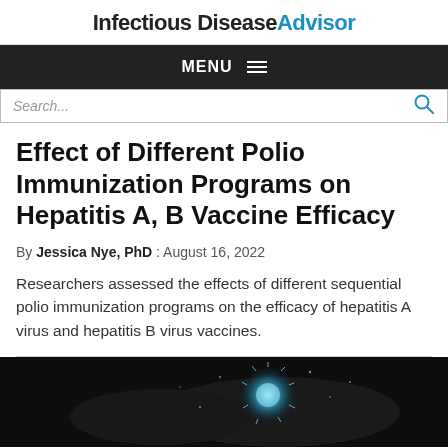Infectious Disease Advisor
MENU
Search...
Effect of Different Polio Immunization Programs on Hepatitis A, B Vaccine Efficacy
By Jessica Nye, PhD : August 16, 2022
Researchers assessed the effects of different sequential polio immunization programs on the efficacy of hepatitis A virus and hepatitis B virus vaccines.
[Figure (photo): Dark background image showing hands and a glowing blue viral particle or cell]